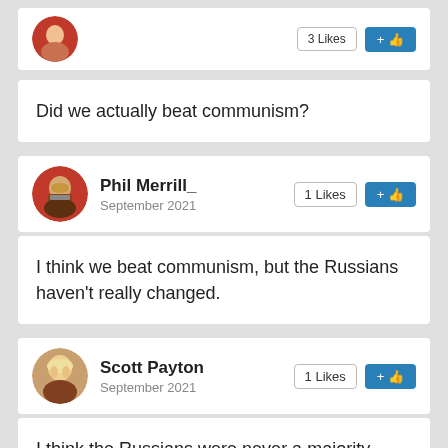[Figure (screenshot): Partial top comment strip showing avatar and like/action buttons]
Did we actually beat communism?
[Figure (screenshot): User Phil Merrill_ avatar (Stalin image), September 2021, 1 Likes, +thumbs-up button]
I think we beat communism, but the Russians haven't really changed.
[Figure (screenshot): User Scott Payton avatar (Ben Franklin image), September 2021, 1 Likes, +thumbs-up button]
I think the Russians were never a majority communist country... Ask China how it's working out for them.
[Figure (screenshot): Partial bottom user row: Kris Weinschenker avatar (partially visible)]